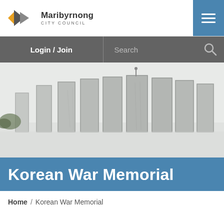[Figure (logo): Maribyrnong City Council logo with angular arrow shapes and text]
Maribyrnong City Council - Login / Join | Search | Menu
[Figure (photo): Photograph of a Korean War Memorial featuring multiple stone/concrete slabs with inscriptions arranged in a row against a white/grey background]
Korean War Memorial
Home / Korean War Memorial